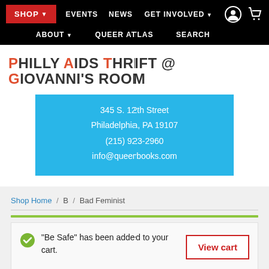SHOP EVENTS NEWS GET INVOLVED ABOUT QUEER ATLAS SEARCH
PHILLY AIDS THRIFT @ GIOVANNI'S ROOM
345 S. 12th Street
Philadelphia, PA 19107
(215) 923-2960
info@queerbooks.com
Shop Home / B / Bad Feminist
"Be Safe" has been added to your cart. View cart